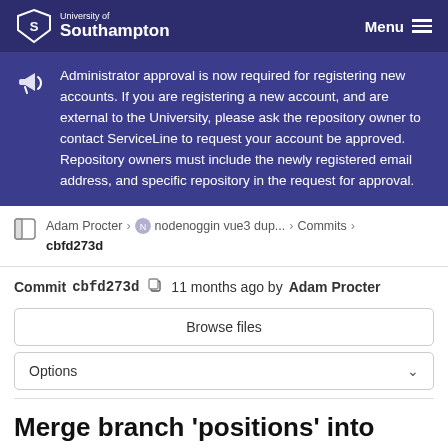University of Southampton — Menu
Administrator approval is now required for registering new accounts. If you are registering a new account, and are external to the University, please ask the repository owner to contact ServiceLine to request your account be approved. Repository owners must include the newly registered email address, and specific repository in the request for approval.
Adam Procter › nodenoggin vue3 dup... › Commits › cbfd273d
Commit cbfd273d  11 months ago by Adam Procter
Browse files
Options
Merge branch 'positions' into main